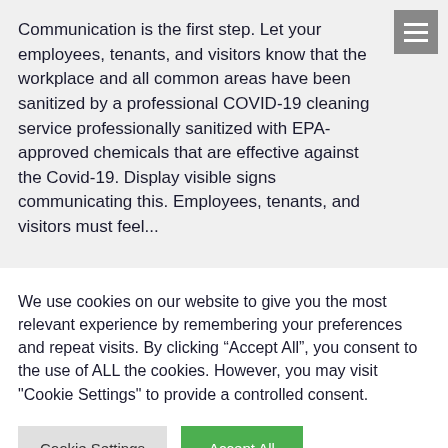Communication is the first step. Let your employees, tenants, and visitors know that the workplace and all common areas have been sanitized by a professional COVID-19 cleaning service professionally sanitized with EPA-approved chemicals that are effective against the Covid-19. Display visible signs communicating this. Employees, tenants, and visitors must feel...
We use cookies on our website to give you the most relevant experience by remembering your preferences and repeat visits. By clicking “Accept All”, you consent to the use of ALL the cookies. However, you may visit "Cookie Settings" to provide a controlled consent.